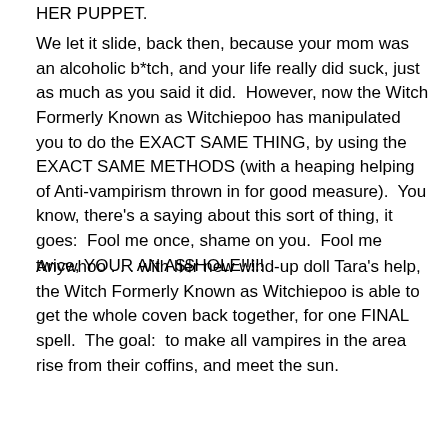HER PUPPET.
We let it slide, back then, because your mom was an alcoholic b*tch, and your life really did suck, just as much as you said it did.  However, now the Witch Formerly Known as Witchiepoo has manipulated you to do the EXACT SAME THING, by using the EXACT SAME METHODS (with a heaping helping of Anti-vampirism thrown in for good measure).  You know, there's a saying about this sort of thing, it goes:  Fool me once, shame on you.  Fool me twice, YOUR AN A$$HOLE!!!!!
Anywhoo . . . with her new wind-up doll Tara's help, the Witch Formerly Known as Witchiepoo is able to get the whole coven back together, for one FINAL spell.  The goal:  to make all vampires in the area rise from their coffins, and meet the sun.